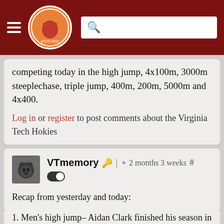The Key Play navigation bar with hamburger menu, logo, and search box
competing today in the high jump, 4x100m, 3000m steeplechase, triple jump, 400m, 200m, 5000m and 4x400.
Log in or register to post comments about the Virginia Tech Hokies
VTmemory | 2 months 3 weeks #
Recap from yesterday and today:
1. Men's high jump– Aidan Clark finished his season in 22nd with a jump of 6'–10.25". Tough day for Elijah Bell who no heighted.
2. Mens 4x100– won their heat and were 2nd fastest overall so on to Eugene.